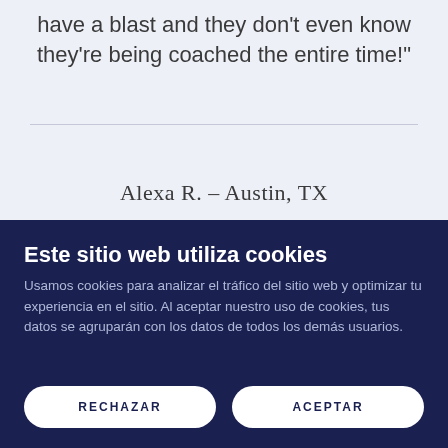have a blast and they don't even know they're being coached the entire time!"
Alexa R. – Austin, TX
Este sitio web utiliza cookies
Usamos cookies para analizar el tráfico del sitio web y optimizar tu experiencia en el sitio. Al aceptar nuestro uso de cookies, tus datos se agruparán con los datos de todos los demás usuarios.
RECHAZAR
ACEPTAR